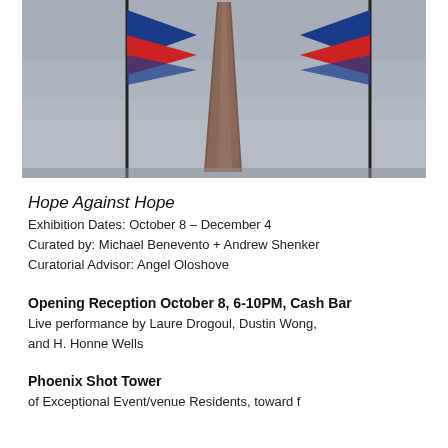[Figure (photo): Outdoor photograph of a tall brown/red obelisk monument flanked by two flag poles, one with a blue and red flag on the left and one on the right. Overcast grey sky in background.]
Hope Against Hope
Exhibition Dates: October 8 – December 4
Curated by: Michael Benevento + Andrew Shenker
Curatorial Advisor: Angel Oloshove
Opening Reception October 8, 6-10PM, Cash Bar
Live performance by Laure Drogoul, Dustin Wong, and H. Honne Wells
Phoenix Shot Tower
of Exceptional Event/venue Residents, toward f